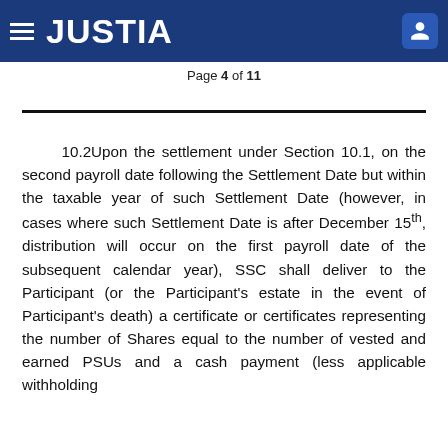JUSTIA
Page 4 of 11
10.2Upon the settlement under Section 10.1, on the second payroll date following the Settlement Date but within the taxable year of such Settlement Date (however, in cases where such Settlement Date is after December 15th, distribution will occur on the first payroll date of the subsequent calendar year), SSC shall deliver to the Participant (or the Participant's estate in the event of Participant's death) a certificate or certificates representing the number of Shares equal to the number of vested and earned PSUs and a cash payment (less applicable withholding